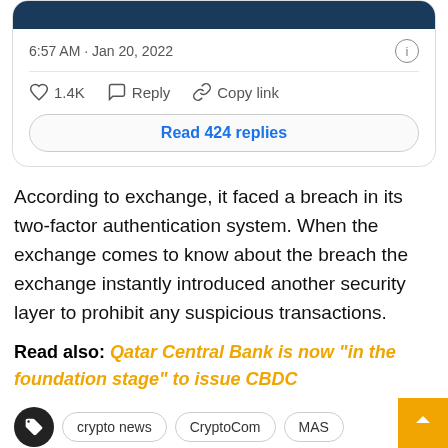[Figure (screenshot): Tweet card snippet showing timestamp 6:57 AM · Jan 20, 2022, with like count 1.4K, Reply button, Copy link button, and a 'Read 424 replies' button]
According to exchange, it faced a breach in its two-factor authentication system. When the exchange comes to know about the breach the exchange instantly introduced another security layer to prohibit any suspicious transactions.
Read also: Qatar Central Bank is now "in the foundation stage" to issue CBDC
crypto news   CryptoCom   MAS
Share   Facebook   Twitter   +